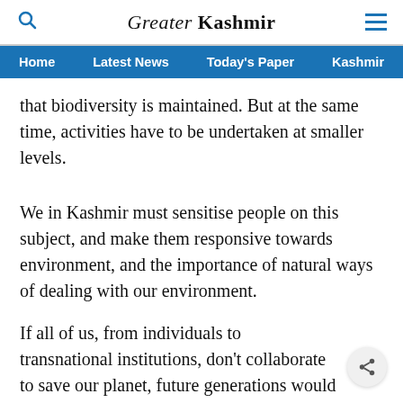Greater Kashmir
Home  Latest News  Today's Paper  Kashmir
that biodiversity is maintained. But at the same time, activities have to be undertaken at smaller levels.
We in Kashmir must sensitise people on this subject, and make them responsive towards environment, and the importance of natural ways of dealing with our environment.
If all of us, from individuals to transnational institutions, don’t collaborate to save our planet, future generations would have to pay a heavy price for our negligence.